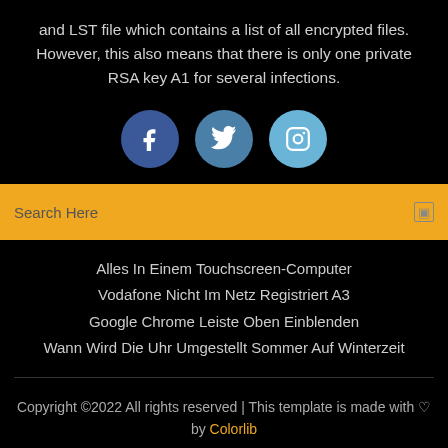and LST file which contains a list of all encrypted files. However, this also means that there is only one private RSA key A1 for several infections.
[Figure (illustration): Three social media icons in circles: Facebook (dark blue), Twitter (medium blue), Instagram (light blue)]
Search Here
Alles In Einem Touchscreen-Computer
Vodafone Nicht Im Netz Registriert A3
Google Chrome Leiste Oben Einblenden
Wann Wird Die Uhr Umgestellt Sommer Auf Winterzeit
Copyright ©2022 All rights reserved | This template is made with ♡ by Colorlib